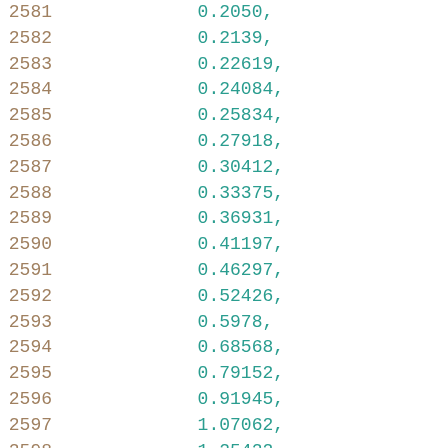2581    0.2050,
2582    0.2139,
2583    0.22619,
2584    0.24084,
2585    0.25834,
2586    0.27918,
2587    0.30412,
2588    0.33375,
2589    0.36931,
2590    0.41197,
2591    0.46297,
2592    0.52426,
2593    0.5978,
2594    0.68568,
2595    0.79152,
2596    0.91945,
2597    1.07062,
2598    1.25422
2599    ],
2600    [
2601    0.14805,
2602    0.19157,